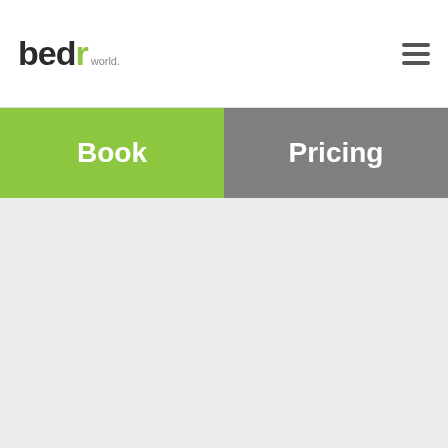[Figure (logo): bedr world logo in top nav bar]
[Figure (logo): Hamburger menu icon (three horizontal lines)]
Book
Pricing
[Figure (logo): bedr world logo large]
[Figure (logo): bedr sleep blog logo large]
720-263-6094
hello@abedderworld.com
Offices in Louisville, CO 80027